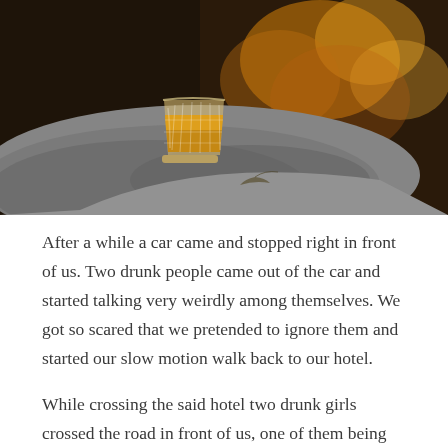[Figure (photo): A crystal whisky glass filled with amber liquid sitting on a grey rock, with a blurred warm bokeh background of orange and gold light.]
After a while a car came and stopped right in front of us. Two drunk people came out of the car and started talking very weirdly among themselves. We got so scared that we pretended to ignore them and started our slow motion walk back to our hotel.
While crossing the said hotel two drunk girls crossed the road in front of us, one of them being too drunk and handled by her less drunk